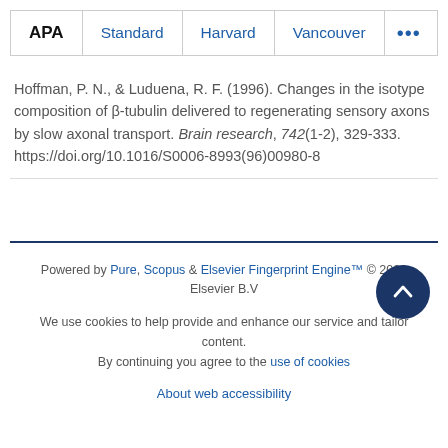APA  Standard  Harvard  Vancouver  ...
Hoffman, P. N., & Luduena, R. F. (1996). Changes in the isotype composition of β-tubulin delivered to regenerating sensory axons by slow axonal transport. Brain research, 742(1-2), 329-333. https://doi.org/10.1016/S0006-8993(96)00980-8
Powered by Pure, Scopus & Elsevier Fingerprint Engine™ © 2022 Elsevier B.V

We use cookies to help provide and enhance our service and tailor content. By continuing you agree to the use of cookies

About web accessibility